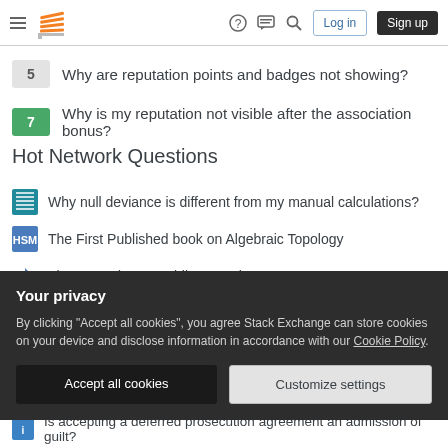[Figure (screenshot): Stack Exchange navigation bar with hamburger menu, logo, help icon, chat icon, search icon, Log in button, and Sign up button]
5 — Why are reputation points and badges not showing?
7 — Why is my reputation not visible after the association bonus?
Hot Network Questions
Why null deviance is different from my manual calculations?
The First Published book on Algebraic Topology
The second even sublime number
In the original Rogue Trader, there were female Space Marines right?
3 chest logic puzzle, is there something you can say that is
Your privacy
By clicking "Accept all cookies", you agree Stack Exchange can store cookies on your device and disclose information in accordance with our Cookie Policy.
Is accepting a deferred prosecution agreement an admission of guilt?